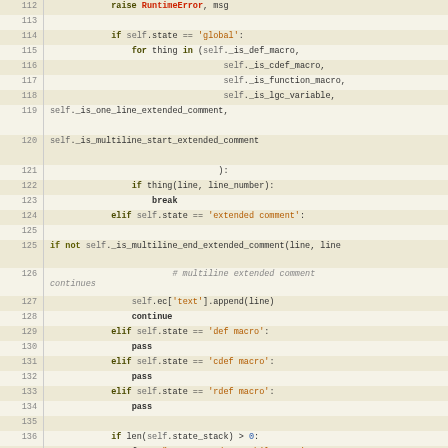[Figure (screenshot): Python source code viewer showing lines 112-138 with syntax highlighting. Line numbers on left, code on right with keywords in bold, strings in orange, errors in red, comments in italic gray.]